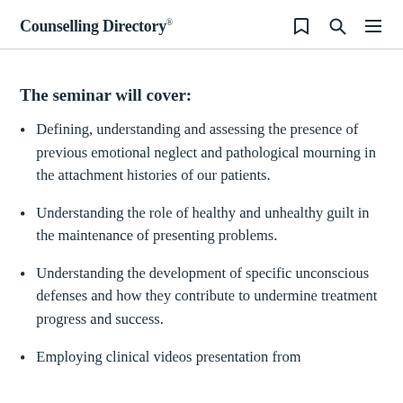Counselling Directory®
The seminar will cover:
Defining, understanding and assessing the presence of previous emotional neglect and pathological mourning in the attachment histories of our patients.
Understanding the role of healthy and unhealthy guilt in the maintenance of presenting problems.
Understanding the development of specific unconscious defenses and how they contribute to undermine treatment progress and success.
Employing clinical videos presentation from the…to illustrate the clinical…